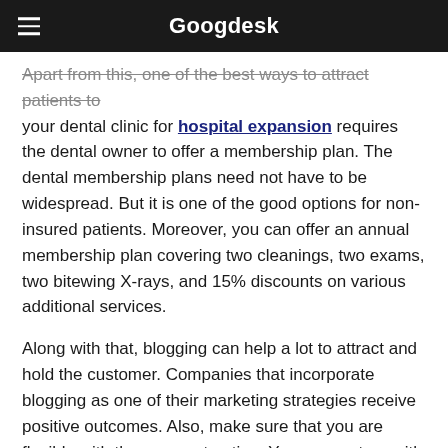Googdesk
Apart from this, one of the best ways to attract patients to your dental clinic for hospital expansion requires the dental owner to offer a membership plan. The dental membership plans need not have to be widespread. But it is one of the good options for non-insured patients. Moreover, you can offer an annual membership plan covering two cleanings, two exams, two bitewing X-rays, and 15% discounts on various additional services.
Along with that, blogging can help a lot to attract and hold the customer. Companies that incorporate blogging as one of their marketing strategies receive positive outcomes. Also, make sure that you are flexible with the payment option. You can partner with any financing company or have the appropriate methods to accept credit card payment.